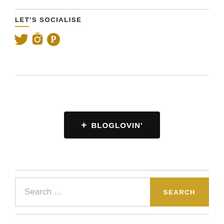LET'S SOCIALISE
[Figure (illustration): Three social media icons (Twitter bird, Instagram camera, Pinterest P) in gold/dark yellow color]
[Figure (illustration): Bloglovin follow button - black rounded rectangle with white text '+ BLOGLOVIN']
Search ...
SEARCH
FOLLOW BLOG VIA EMAIL